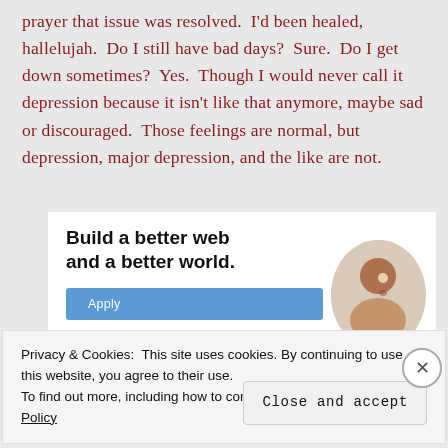prayer that issue was resolved.  I'd been healed, hallelujah.  Do I still have bad days?  Sure.  Do I get down sometimes?  Yes.  Though I would never call it depression because it isn't like that anymore, maybe sad or discouraged.  Those feelings are normal, but depression, major depression, and the like are not.
[Figure (other): Advertisement banner: 'Build a better web and a better world.' with an Apply button and a photo of a man thinking]
Privacy & Cookies:  This site uses cookies. By continuing to use this website, you agree to their use.
To find out more, including how to control cookies, see here: Cookie Policy
Close and accept